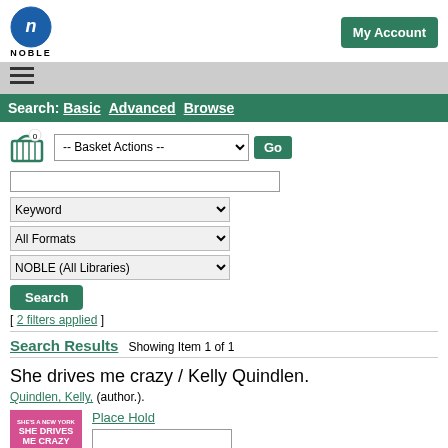[Figure (logo): NOBLE library logo - blue circle with stylized N, text NOBLE below]
My Account
[Figure (other): Hamburger menu icon (three horizontal lines)]
Search: Basic  Advanced  Browse
[Figure (other): Shopping basket icon with 0 badge]
-- Basket Actions --  Go
Keyword
All Formats
NOBLE (All Libraries)
Search
[ 2 filters applied ]
Search Results   Showing Item 1 of 1
She drives me crazy / Kelly Quindlen.
Quindlen, Kelly, (author.).
[Figure (illustration): Book cover for She Drives Me Crazy - pink background with white text]
Place Hold
Add to basket